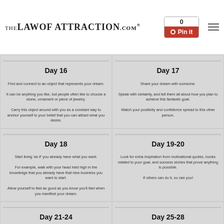TheLawOfAttraction.com® — 0 Pin it
Day 16
Find and connect to an object that represents your dream.
It can be anything you like, but people often like to choose a stone, ornament or piece of jewelry.
Carry this object around with you as a constant way to anchor yourself to your belief that you can attract what you desire.
Day 17
Share your dream with someone.
Speak with certainty, and tell them all about how you plan to achieve this fantastic goal.
Watch your positivity and confidence spread to this other person.
Day 18
Start living 'as if' you already have what you want.
For example, walk with your head held high in the knowledge that you already have that new business you want to start.
Allow yourself to feel as good as you know you'll feel when you manifest your dream.
Day 19-20
Look for extra inspiration from motivational quotes, books related to your goal, and success stories that prove anything is possible.
If others can do it, so can you!
Day 21-24
Make room for what is to come in your life.
For example, you might buy a new chair for the partner you're going to find, get new clothes to fit the fitter figure...
Day 25-28
At night, visualize your dream in even more detail. Imagine not just how it will look, but how it will feel, sound and smell. Make the mental picture brighter, more vivid and more real.